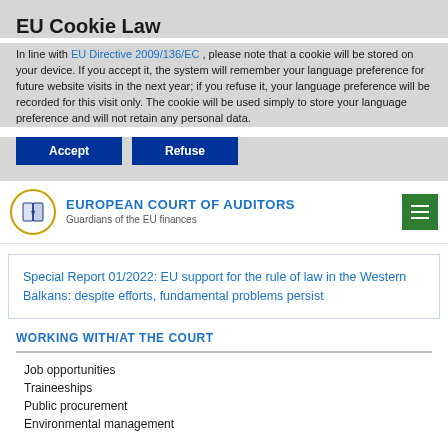EU Cookie Law
In line with EU Directive 2009/136/EC , please note that a cookie will be stored on your device. If you accept it, the system will remember your language preference for future website visits in the next year; if you refuse it, your language preference will be recorded for this visit only. The cookie will be used simply to store your language preference and will not retain any personal data.
Accept   Refuse
EUROPEAN COURT OF AUDITORS — Guardians of the EU finances
Special Report 01/2022: EU support for the rule of law in the Western Balkans: despite efforts, fundamental problems persist
WORKING WITH/AT THE COURT
Job opportunities
Traineeships
Public procurement
Environmental management